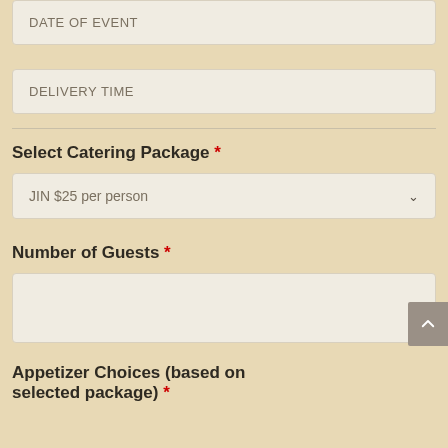DATE OF EVENT
DELIVERY TIME
Select Catering Package *
JIN $25 per person
Number of Guests *
Appetizer Choices (based on selected package) *